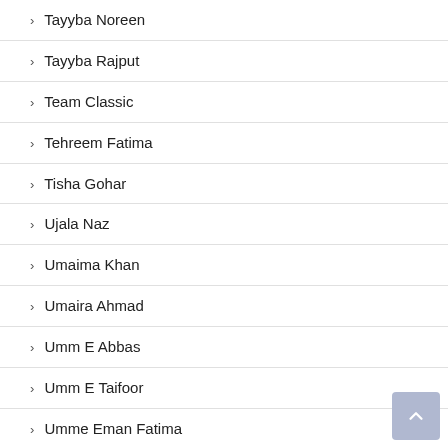› Tayyba Noreen
› Tayyba Rajput
› Team Classic
› Tehreem Fatima
› Tisha Gohar
› Ujala Naz
› Umaima Khan
› Umaira Ahmad
› Umm E Abbas
› Umm E Taifoor
› Umme Eman Fatima
› Umme Ghani
› Umme Hani
› Umme Hania
› Umme Imaan